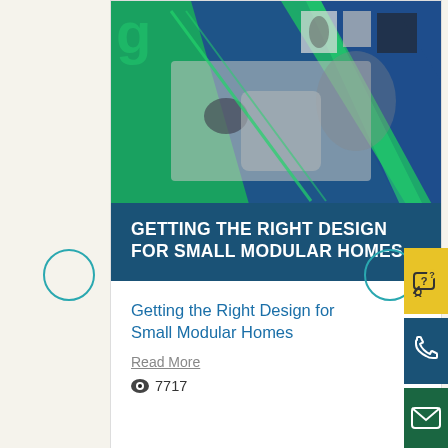[Figure (photo): Blog post card showing a living room interior with sofa and chair, overlaid with blue and green diagonal design shapes. Card has a dark blue bottom section with white uppercase title text.]
GETTING THE RIGHT DESIGN FOR SMALL MODULAR HOMES
Getting the Right Design for Small Modular Homes
Read More
👁 7717